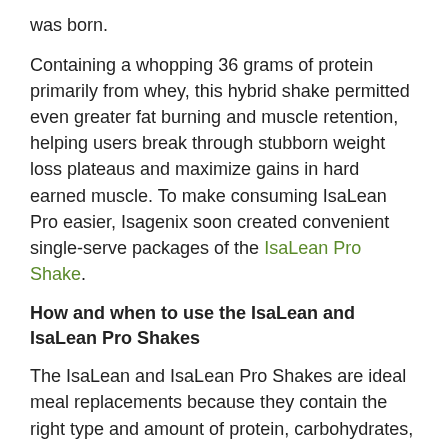was born.
Containing a whopping 36 grams of protein primarily from whey, this hybrid shake permitted even greater fat burning and muscle retention, helping users break through stubborn weight loss plateaus and maximize gains in hard earned muscle. To make consuming IsaLean Pro easier, Isagenix soon created convenient single-serve packages of the IsaLean Pro Shake.
How and when to use the IsaLean and IsaLean Pro Shakes
The IsaLean and IsaLean Pro Shakes are ideal meal replacements because they contain the right type and amount of protein, carbohydrates, healthy fats, and vitamins and minerals to promote healthy weight management and muscle maintenance, curb hunger, and provide long-lasting energy. Although undenatured whey is the main type of protein in the shakes, they also each contain undenatured milk protein concentrate,